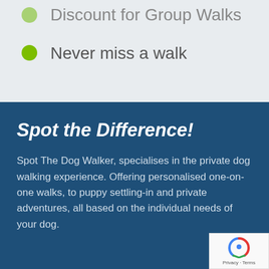Discount for Group Walks
Never miss a walk
Spot the Difference!
Spot The Dog Walker, specialises in the private dog walking experience. Offering personalised one-on-one walks, to puppy settling-in and private adventures, all based on the individual needs of your dog.